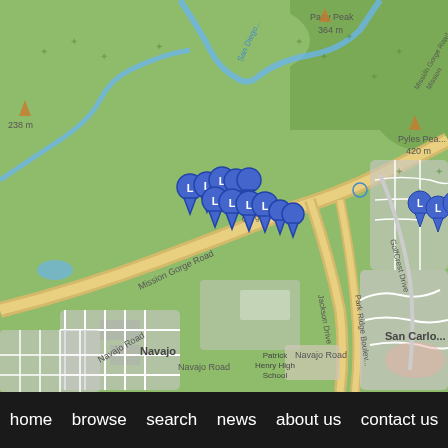[Figure (map): Street map showing Mission Gorge Road area in San Diego with blue location markers clustered near Mission Gorge Road. Map shows areas including Navajo, San Carlos, Paay Peak (364m), 238m elevation marker, Pyles Peak (420m), GolfCrest Drive, Jackson Drive, Park Ridge Boulevard, Navajo Road, and Patrick Henry High School.]
home   browse   search   news   about us   contact us